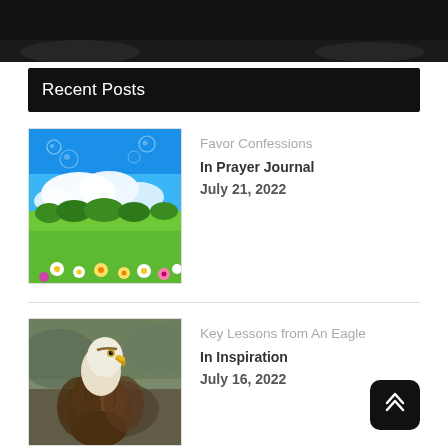[Figure (photo): Dark banner image at top, partially obscured, showing a landscape/header photo with black overlay.]
Recent Posts
[Figure (photo): Thumbnail of a scenic landscape with blue sky, white clouds, green grass field and colorful daisy flowers in foreground, with soap bubbles floating in the air.]
Favor Confessions
In Prayer Journal
July 21, 2022
[Figure (photo): Thumbnail of a bald eagle perched, showing white head, yellow beak, and brown body feathers against a blurred natural background.]
Key Lessons from An Eagle
In Inspiration
July 16, 2022